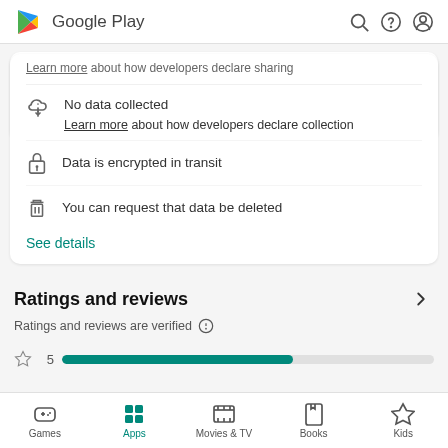Google Play
Learn more about how developers declare sharing
No data collected
Learn more about how developers declare collection
Data is encrypted in transit
You can request that data be deleted
See details
Ratings and reviews
Ratings and reviews are verified
Games  Apps  Movies & TV  Books  Kids